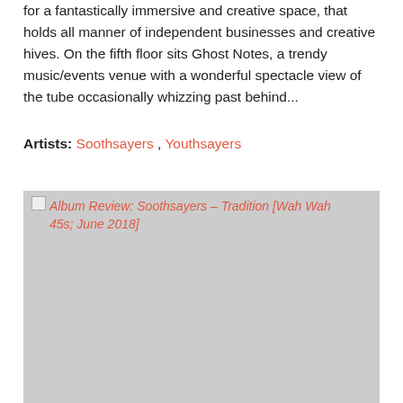for a fantastically immersive and creative space, that holds all manner of independent businesses and creative hives. On the fifth floor sits Ghost Notes, a trendy music/events venue with a wonderful spectacle view of the tube occasionally whizzing past behind...
Artists: Soothsayers , Youthsayers
[Figure (photo): Broken image placeholder with alt text: Album Review: Soothsayers – Tradition [Wah Wah 45s; June 2018]]